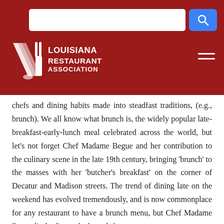[Figure (logo): Louisiana Restaurant Association logo with search bar and hamburger menu on dark red header background]
chefs and dining habits made into steadfast traditions, (e.g., brunch). We all know what brunch is, the widely popular late-breakfast-early-lunch meal celebrated across the world, but let’s not forget Chef Madame Begue and her contribution to the culinary scene in the late 19th century, bringing ‘brunch’ to the masses with her ‘butcher’s breakfast’ on the corner of Decatur and Madison streets. The trend of dining late on the weekend has evolved tremendously, and is now commonplace for any restaurant to have a brunch menu, but Chef Madame Begue lit the fire to the brunch fuse.